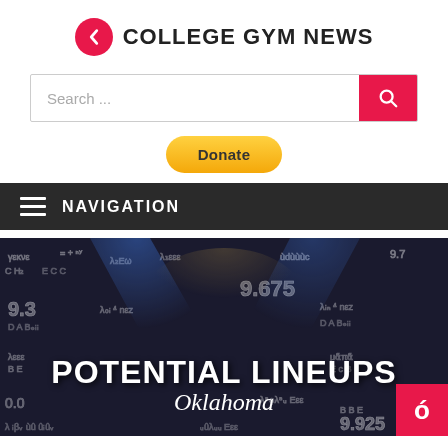COLLEGE GYM NEWS
Search ...
Donate
NAVIGATION
[Figure (photo): Dark chalkboard background with gymnastics scores written in chalk (9.675, 9.3, 9.925, etc.) with blue spotlights, overlaid with bold white text reading POTENTIAL LINEUPS and italic text reading Oklahoma. A red badge with a gymnast icon appears in the bottom right corner.]